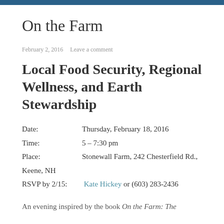On the Farm
February 2, 2016  Leave a comment
Local Food Security, Regional Wellness, and Earth Stewardship
Date:  Thursday, February 18, 2016
Time:  5 – 7:30 pm
Place:  Stonewall Farm, 242 Chesterfield Rd., Keene, NH
RSVP by 2/15:  Kate Hickey or (603) 283-2436
An evening inspired by the book On the Farm: The